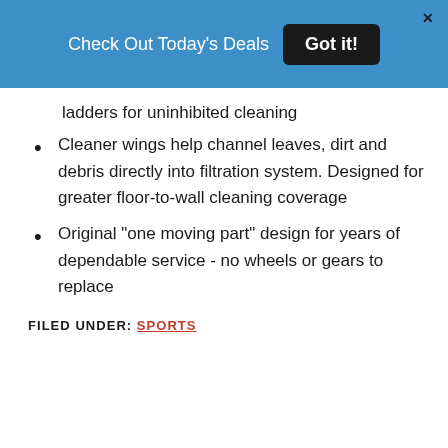Check Out Today's Deals  Got it!
ladders for uninhibited cleaning
Cleaner wings help channel leaves, dirt and debris directly into filtration system. Designed for greater floor-to-wall cleaning coverage
Original "one moving part" design for years of dependable service - no wheels or gears to replace
FILED UNDER: SPORTS